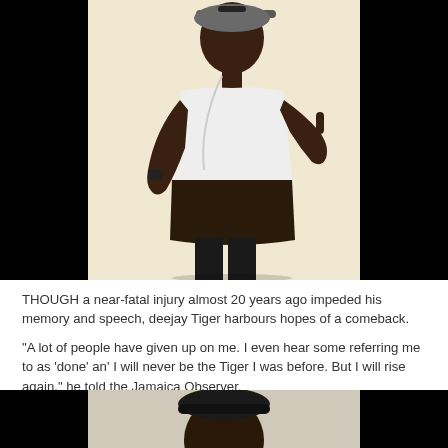[Figure (photo): A man (deejay Tiger) wearing a white t-shirt, grey cap with sunglasses on top, and headphones around his neck, posing with one finger pointed up against a light beige/cream background. Black bars frame the left and right sides of the image.]
THOUGH a near-fatal injury almost 20 years ago impeded his memory and speech, deejay Tiger harbours hopes of a comeback.
“A lot of people have given up on me. I even hear some referring me to as ‘done’ an’ I will never be the Tiger I was before. But I will rise again,” he told the Jamaica Observer.
[Figure (photo): Partial view of another photo at the bottom of the page, showing a person with black bars on the sides, cropped off at the bottom edge.]